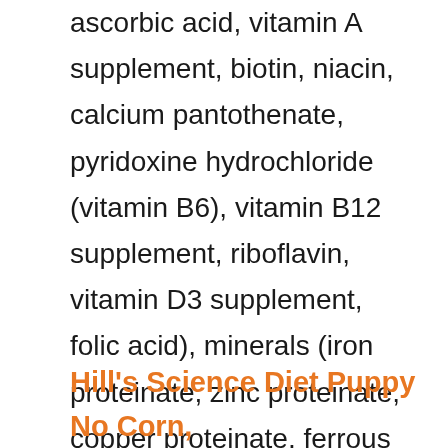ascorbic acid, vitamin A supplement, biotin, niacin, calcium pantothenate, pyridoxine hydrochloride (vitamin B6), vitamin B12 supplement, riboflavin, vitamin D3 supplement, folic acid), minerals (iron proteinate, zinc proteinate, copper proteinate, ferrous sulfate, zinc sulfate, copper sulfate, potassium iodide, manganese proteinate, manganous oxide, manganese sulfate, sodium selenite), mixed tocopherols (a preservative), papaya, pineapple. Contains a source of live naturally occurring microorganisms.
Hill's Science Diet Puppy No Corn,